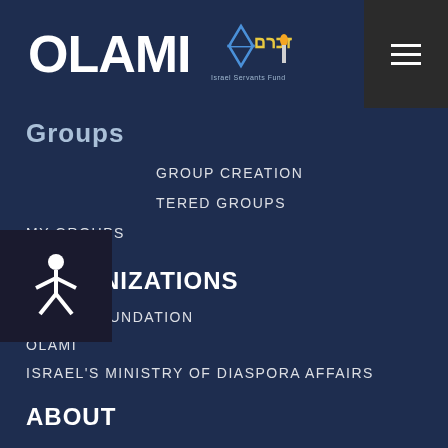OLAMI [logo with Zocher emblem and hamburger menu]
Groups
GROUP CREATION
REGISTERED GROUPS
MY GROUPS
ORGANIZATIONS
AFIKIM FOUNDATION
OLAMI
ISRAEL'S MINISTRY OF DIASPORA AFFAIRS
ABOUT